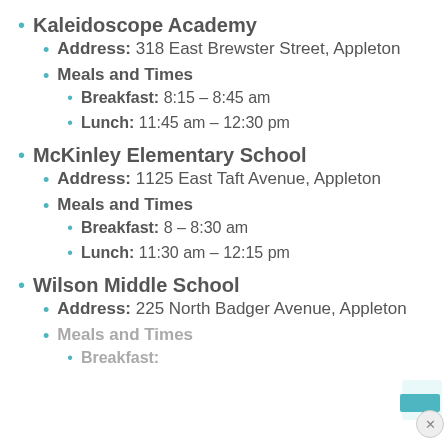Kaleidoscope Academy
Address: 318 East Brewster Street, Appleton
Meals and Times
Breakfast: 8:15 – 8:45 am
Lunch: 11:45 am – 12:30 pm
McKinley Elementary School
Address: 1125 East Taft Avenue, Appleton
Meals and Times
Breakfast: 8 – 8:30 am
Lunch: 11:30 am – 12:15 pm
Wilson Middle School
Address: 225 North Badger Avenue, Appleton
Meals and Times
Breakfast: (partially visible)